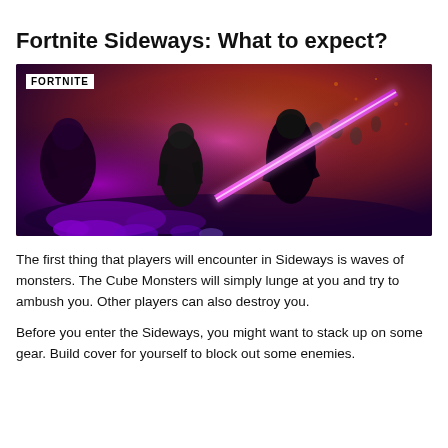Fortnite Sideways: What to expect?
[Figure (photo): Fortnite game screenshot showing dark armored characters fighting in a purple and orange dimensional zone with a bright magenta energy beam, with 'FORTNITE' logo in top-left corner.]
The first thing that players will encounter in Sideways is waves of monsters. The Cube Monsters will simply lunge at you and try to ambush you. Other players can also destroy you.
Before you enter the Sideways, you might want to stack up on some gear. Build cover for yourself to block out some enemies.